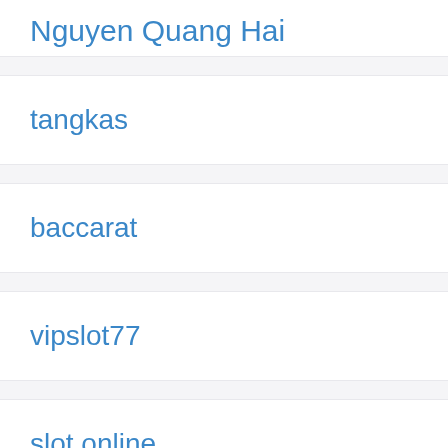Nguyen Quang Hai
tangkas
baccarat
vipslot77
slot online